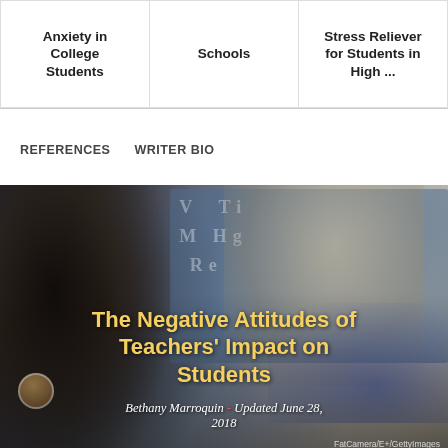Anxiety in College Students
Schools
Stress Reliever for Students in High ...
REFERENCES    WRITER BIO
[Figure (photo): A female teacher with dark hair and glasses and a young blonde girl student working together, with a periodic table in the background. Overlaid text reads: The Negative Attitudes of Teachers' Impact on Students. Byline: Bethany Marroquin - Updated June 28, 2018. Credit: FatCamera/E+/GettyImages]
Teachers' attitudes can help or hurt student